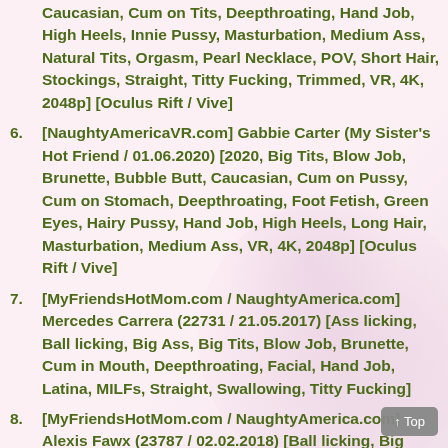Caucasian, Cum on Tits, Deepthroating, Hand Job, High Heels, Innie Pussy, Masturbation, Medium Ass, Natural Tits, Orgasm, Pearl Necklace, POV, Short Hair, Stockings, Straight, Titty Fucking, Trimmed, VR, 4K, 2048p] [Oculus Rift / Vive]
6. [NaughtyAmericaVR.com] Gabbie Carter (My Sister's Hot Friend / 01.06.2020) [2020, Big Tits, Blow Job, Brunette, Bubble Butt, Caucasian, Cum on Pussy, Cum on Stomach, Deepthroating, Foot Fetish, Green Eyes, Hairy Pussy, Hand Job, High Heels, Long Hair, Masturbation, Medium Ass, VR, 4K, 2048p] [Oculus Rift / Vive]
7. [MyFriendsHotMom.com / NaughtyAmerica.com] Mercedes Carrera (22731 / 21.05.2017) [Ass licking, Ball licking, Big Ass, Big Tits, Blow Job, Brunette, Cum in Mouth, Deepthroating, Facial, Hand Job, Latina, MILFs, Straight, Swallowing, Titty Fucking]
8. [MyFriendsHotMom.com / NaughtyAmerica.com] Alexis Fawx (23787 / 02.02.2018) [Ball licking, Big